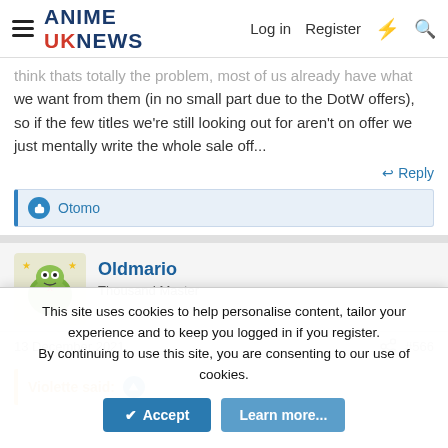ANIME UKNEWS | Log in | Register
think thats totally the problem, most of us already have what we want from them (in no small part due to the DotW offers), so if the few titles we're still looking out for aren't on offer we just mentally write the whole sale off...
Reply
Otomo
Oldmario
Thousand Master
13 December 2021  #566
Violette said: